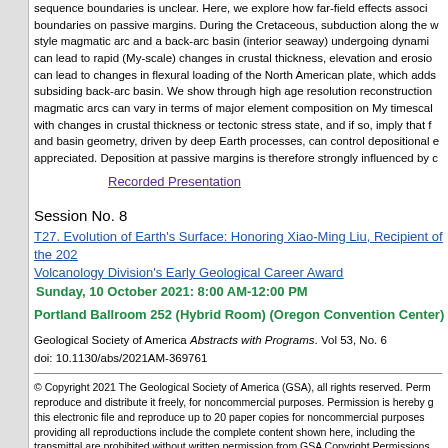sequence boundaries is unclear. Here, we explore how far-field effects associated boundaries on passive margins. During the Cretaceous, subduction along the w style magmatic arc and a back-arc basin (interior seaway) undergoing dynamic can lead to rapid (My-scale) changes in crustal thickness, elevation and erosi can lead to changes in flexural loading of the North American plate, which adds subsiding back-arc basin. We show through high age resolution reconstruction magmatic arcs can vary in terms of major element composition on My timescal with changes in crustal thickness or tectonic stress state, and if so, imply that f and basin geometry, driven by deep Earth processes, can control depositional e appreciated. Deposition at passive margins is therefore strongly influenced by
Recorded Presentation
Session No. 8
T27. Evolution of Earth's Surface: Honoring Xiao-Ming Liu, Recipient of the 2021 Volcanology Division's Early Geological Career Award
Sunday, 10 October 2021: 8:00 AM-12:00 PM
Portland Ballroom 252 (Hybrid Room) (Oregon Convention Center)
Geological Society of America Abstracts with Programs. Vol 53, No. 6
doi: 10.1130/abs/2021AM-369761
© Copyright 2021 The Geological Society of America (GSA), all rights reserved. Permission to reproduce and distribute it freely, for noncommercial purposes. Permission is hereby granted to this electronic file and reproduce up to 20 paper copies for noncommercial purposes without providing all reproductions include the complete content shown here, including the transmittal are prohibited without written permission from GSA Copyright Permissions.
Back to: T27. Evolution of Earth's Surface: Honoring Xiao-Ming Liu, Recipient ... Volcanology Division's Early Geologic...